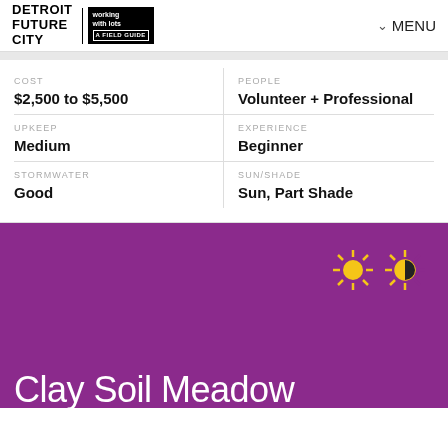Detroit Future City | working with lots | A Field Guide | MENU
| Category | Value |
| --- | --- |
| COST | PEOPLE |
| $2,500 to $5,500 | Volunteer + Professional |
| UPKEEP | EXPERIENCE |
| Medium | Beginner |
| STORMWATER | SUN/SHADE |
| Good | Sun, Part Shade |
[Figure (illustration): Sun and part-shade icons on purple background]
Clay Soil Meadow